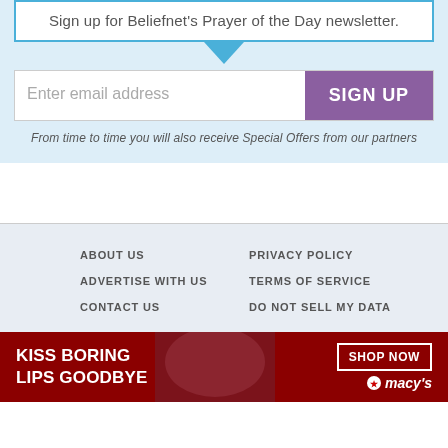Sign up for Beliefnet's Prayer of the Day newsletter.
Enter email address
SIGN UP
From time to time you will also receive Special Offers from our partners
ABOUT US   PRIVACY POLICY   ADVERTISE WITH US   TERMS OF SERVICE   CONTACT US   DO NOT SELL MY DATA
[Figure (infographic): Advertisement banner: KISS BORING LIPS GOODBYE with SHOP NOW button and Macy's logo on dark red background]